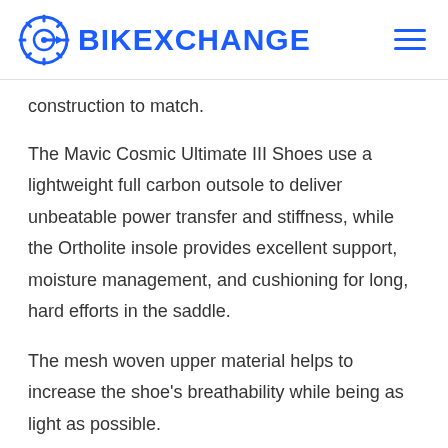BIKEXCHANGE
construction to match.
The Mavic Cosmic Ultimate III Shoes use a lightweight full carbon outsole to deliver unbeatable power transfer and stiffness, while the Ortholite insole provides excellent support, moisture management, and cushioning for long, hard efforts in the saddle.
The mesh woven upper material helps to increase the shoe's breathability while being as light as possible.